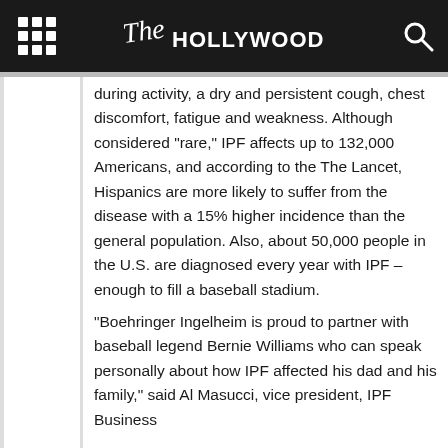The Hollywood Times
during activity, a dry and persistent cough, chest discomfort, fatigue and weakness. Although considered "rare," IPF affects up to 132,000 Americans, and according to the The Lancet, Hispanics are more likely to suffer from the disease with a 15% higher incidence than the general population. Also, about 50,000 people in the U.S. are diagnosed every year with IPF – enough to fill a baseball stadium.
"Boehringer Ingelheim is proud to partner with baseball legend Bernie Williams who can speak personally about how IPF affected his dad and his family," said Al Masucci, vice president, IPF Business